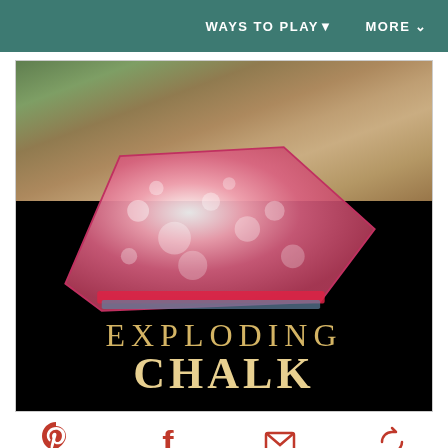WAYS TO PLAY▾   MORE ∨
[Figure (photo): Children playing outdoors with an exploding chalk bag — a pink bubbly substance visible in a zip-lock bag on dark pavement, with children's hands and feet visible in the background. Text overlay reads 'EXPLODING CHALK' in gold serif letters on the black background.]
1.99k